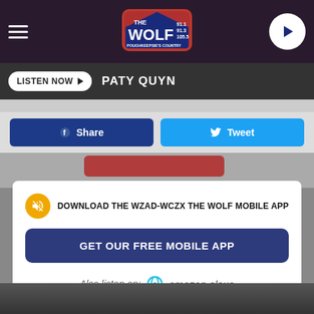[Figure (logo): The Wolf radio station logo (91.1, 91.3, 105.5) in top navigation bar]
LISTEN NOW  PATY QUYN
Share   Tweet
DOWNLOAD THE WZAD-WCZX THE WOLF MOBILE APP
GET OUR FREE MOBILE APP
Also listen on:  amazon alexa